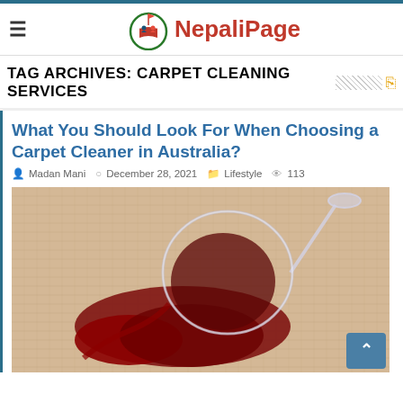NepaliPage
TAG ARCHIVES: CARPET CLEANING SERVICES
What You Should Look For When Choosing a Carpet Cleaner in Australia?
Madan Mani  December 28, 2021  Lifestyle  113
[Figure (photo): A wine glass tipped over on a beige carpet with red wine spilling out]